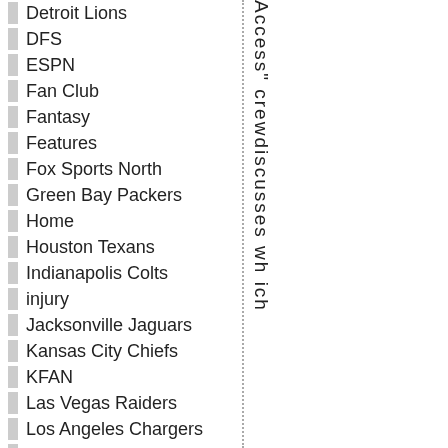Detroit Lions
DFS
ESPN
Fan Club
Fantasy
Features
Fox Sports North
Green Bay Packers
Home
Houston Texans
Indianapolis Colts
injury
Jacksonville Jaguars
Kansas City Chiefs
KFAN
Las Vegas Raiders
Los Angeles Chargers
Los Angeles Rams
Miami Dolphins
Minnesota Vikings
MN Vikings
New England Patriots
New Orleans Saints
Access" crewdiscusses wh ich